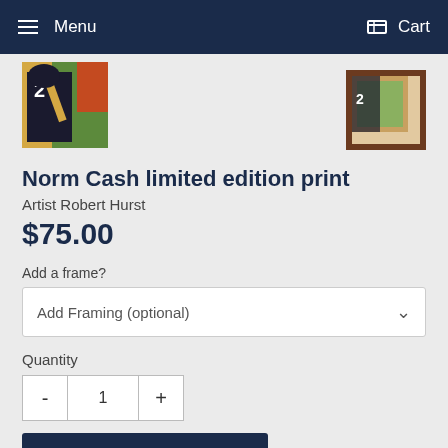Menu  Cart
[Figure (photo): Thumbnail of Norm Cash baseball player painting by Robert Hurst, showing a batter in dark uniform with number 2, colorful background]
[Figure (photo): Small framed version of the artwork with dark brown frame]
Norm Cash limited edition print
Artist Robert Hurst
$75.00
Add a frame?
Add Framing (optional)
Quantity
- 1 +
ADD TO CART